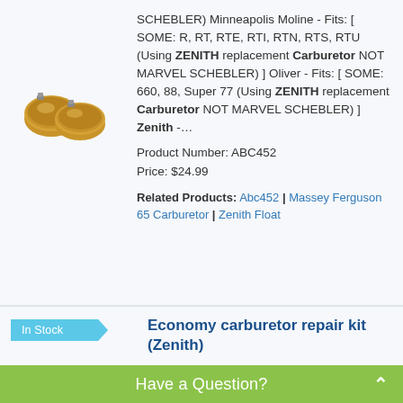[Figure (photo): Product photo of two golden/bronze oval carburetor floats]
SCHEBLER) Minneapolis Moline - Fits: [ SOME: R, RT, RTE, RTI, RTN, RTS, RTU (Using ZENITH replacement Carburetor NOT MARVEL SCHEBLER) ] Oliver - Fits: [ SOME: 660, 88, Super 77 (Using ZENITH replacement Carburetor NOT MARVEL SCHEBLER) ] Zenith -…
Product Number: ABC452
Price: $24.99
Related Products: Abc452 | Massey Ferguson 65 Carburetor | Zenith Float
In Stock
Economy carburetor repair kit (Zenith)
…3020, 4000, 4010, 4020 (For
Have a Question?